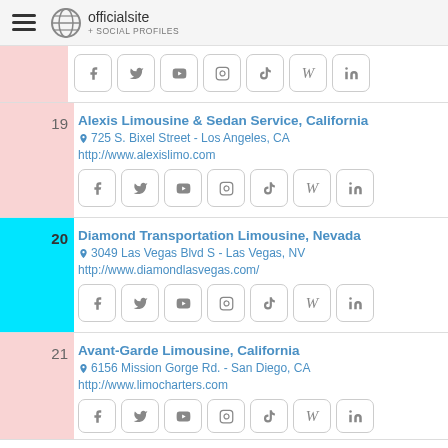officialsite + SOCIAL PROFILES
19 | Alexis Limousine & Sedan Service, California | 725 S. Bixel Street - Los Angeles, CA | http://www.alexislimo.com
20 | Diamond Transportation Limousine, Nevada | 3049 Las Vegas Blvd S - Las Vegas, NV | http://www.diamondlasvegas.com/
21 | Avant-Garde Limousine, California | 6156 Mission Gorge Rd. - San Diego, CA | http://www.limocharters.com